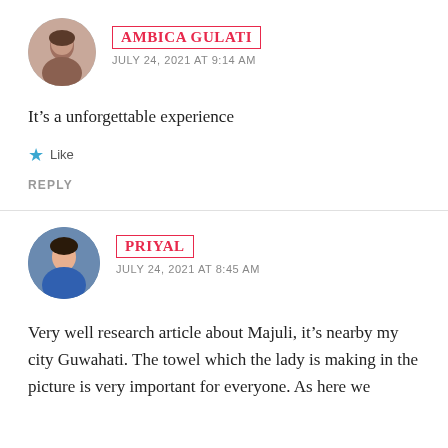[Figure (photo): Circular avatar photo of Ambica Gulati]
AMBICA GULATI
JULY 24, 2021 AT 9:14 AM
It's a unforgettable experience
★ Like
REPLY
[Figure (photo): Circular avatar photo of Priyal]
PRIYAL
JULY 24, 2021 AT 8:45 AM
Very well research article about Majuli, it's nearby my city Guwahati. The towel which the lady is making in the picture is very important for everyone. As here we